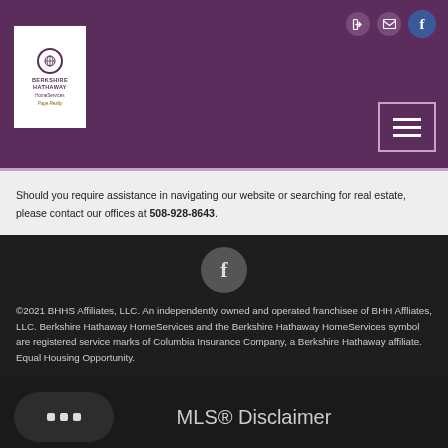[Figure (logo): Berkshire Hathaway HomeServices Page Realty logo in white box on purple header]
Should you require assistance in navigating our website or searching for real estate, please contact our offices at 508-928-8643
[Figure (illustration): Facebook circle icon button]
©2021 BHHS Affiliates, LLC. An independently owned and operated franchisee of BHH Affliates, LLC. Berkshire Hathaway HomeServices and the Berkshire Hathaway HomeServices symbol are registered service marks of Columbia Insurance Company, a Berkshire Hathaway affiliate. Equal Housing Opportunity.
[Figure (illustration): Chat bubble icon button (rounded rectangle with three dots)]
MLS® Disclaimer
[Figure (illustration): Property badge green logo at bottom]